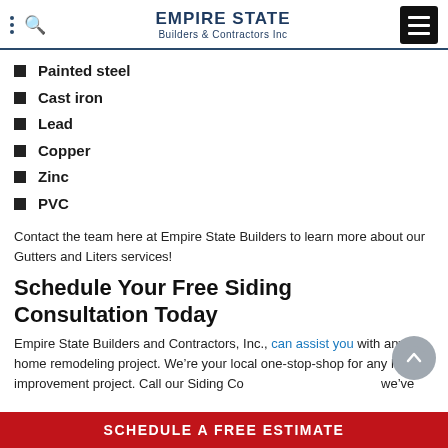EMPIRE STATE Builders & Contractors Inc
Painted steel
Cast iron
Lead
Copper
Zinc
PVC
Contact the team here at Empire State Builders to learn more about our Gutters and Liters services!
Schedule Your Free Siding Consultation Today
Empire State Builders and Contractors, Inc., can assist you with any home remodeling project. We’re your local one-stop-shop for any home improvement project. Call our Siding Co we’ve
SCHEDULE A FREE ESTIMATE